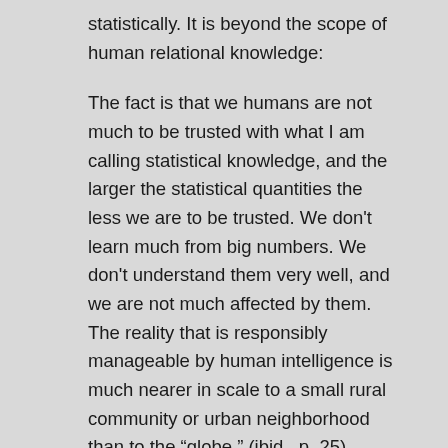statistically. It is beyond the scope of human relational knowledge:
The fact is that we humans are not much to be trusted with what I am calling statistical knowledge, and the larger the statistical quantities the less we are to be trusted. We don't learn much from big numbers. We don't understand them very well, and we are not much affected by them. The reality that is responsibly manageable by human intelligence is much nearer in scale to a small rural community or urban neighborhood than to the “globe.” (ibid., p. 25).
The limits to human knowledge, Berry claims, are local. That is, they are bounded by what can be known relationally. A local or located education is, in Berry’s terms, relational. It stems from and fosters “affection,” which Berry describes as the ability to act responsibly towards the co-occupants of a space on their terms. In